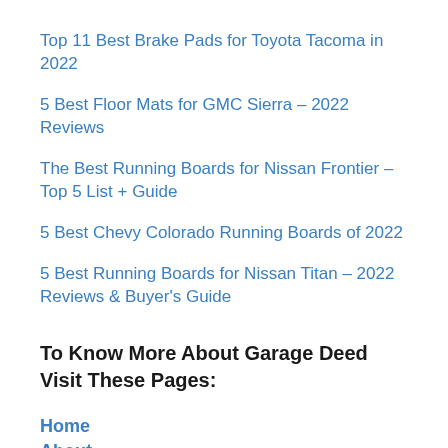Top 11 Best Brake Pads for Toyota Tacoma in 2022
5 Best Floor Mats for GMC Sierra – 2022 Reviews
The Best Running Boards for Nissan Frontier – Top 5 List + Guide
5 Best Chevy Colorado Running Boards of 2022
5 Best Running Boards for Nissan Titan – 2022 Reviews & Buyer's Guide
To Know More About Garage Deed Visit These Pages:
Home
About